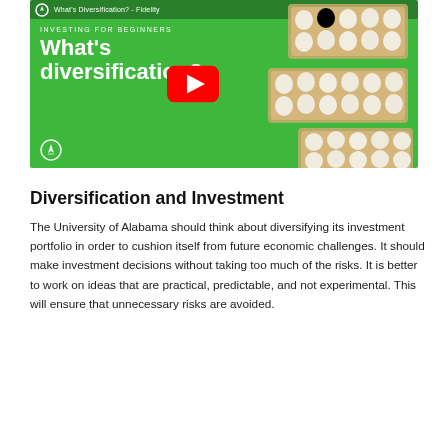[Figure (screenshot): YouTube video thumbnail for a Fidelity 'Investing for Beginners' video titled 'What's diversification?' showing a green background with egg cartons and a YouTube play button overlay.]
Diversification and Investment
The University of Alabama should think about diversifying its investment portfolio in order to cushion itself from future economic challenges. It should make investment decisions without taking too much of the risks. It is better to work on ideas that are practical, predictable, and not experimental. This will ensure that unnecessary risks are avoided.